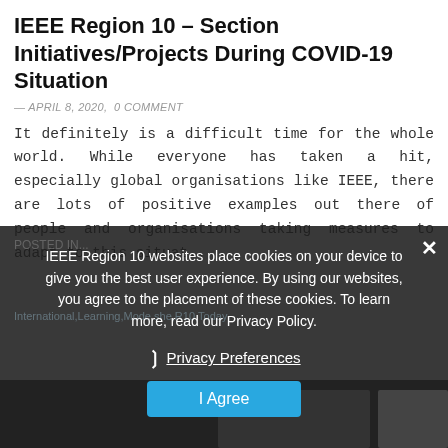IEEE Region 10 – Section Initiatives/Projects During COVID-19 Situation
— APRIL 8, 2020,  0 COMMENT
It definitely is a difficult time for the whole world. While everyone has taken a hit, especially global organisations like IEEE, there are lots of positive examples out there of people and organisations taking measures to adapt to this situat..
IEEE Region 10 websites place cookies on your device to give you the best user experience. By using our websites, you agree to the placement of these cookies. To learn more, read our Privacy Policy.
❯  Privacy Preferences
I Agree